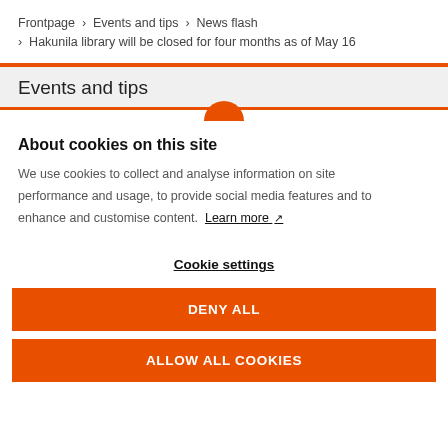Frontpage › Events and tips › News flash › Hakunila library will be closed for four months as of May 16
Events and tips
About cookies on this site
We use cookies to collect and analyse information on site performance and usage, to provide social media features and to enhance and customise content. Learn more ↗
Cookie settings
DENY ALL
ALLOW ALL COOKIES